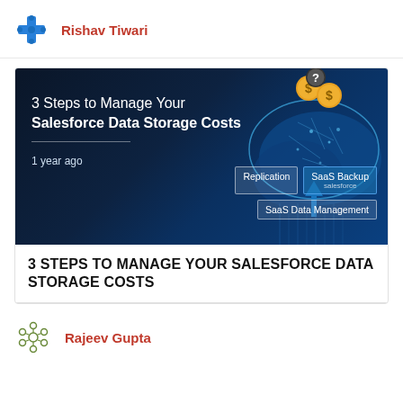Rishav Tiwari
[Figure (illustration): Dark blue themed banner showing glowing cloud network diagram with dollar-sign coins and a question mark above clouds. Text overlay: '3 Steps to Manage Your Salesforce Data Storage Costs' with tags: Replication, SaaS Backup, SaaS Data Management. Timestamp: 1 year ago.]
3 STEPS TO MANAGE YOUR SALESFORCE DATA STORAGE COSTS
Rajeev Gupta